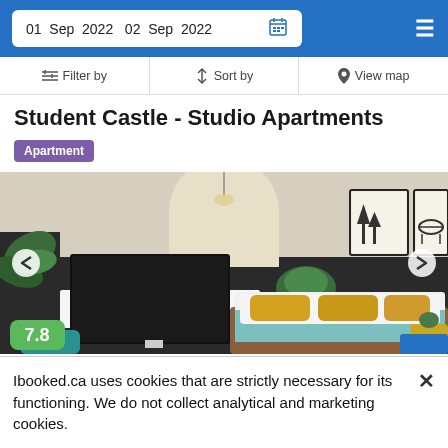01 Sep 2022   02 Sep 2022
Filter by   Sort by   View map
Student Castle - Studio Apartments
Apartment
[Figure (photo): Hotel room interior with a large bed with yellow and teal pillows, a flat-screen TV on a dark accent wall, framed artwork, and modern furnishings. Score badge 7.8 in green.]
Ibooked.ca uses cookies that are strictly necessary for its functioning. We do not collect analytical and marketing cookies.
2 adults · 1 bedroom · 1 bed